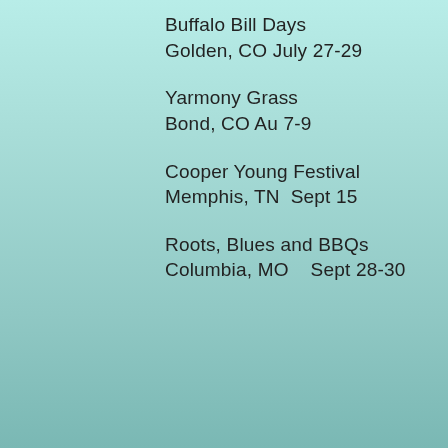Buffalo Bill Days
Golden, CO July 27-29
Yarmony Grass
Bond, CO Au 7-9
Cooper Young Festival
Memphis, TN  Sept 15
Roots, Blues and BBQs
Columbia, MO   Sept 28-30